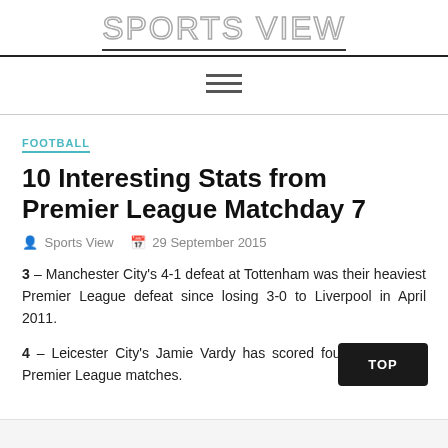Sports View
FOOTBALL
10 Interesting Stats from Premier League Matchday 7
Sports View   29 September 2015
3 – Manchester City's 4-1 defeat at Tottenham was their heaviest Premier League defeat since losing 3-0 to Liverpool in April 2011.
4 – Leicester City's Jamie Vardy has scored four consecutive Premier League matches.